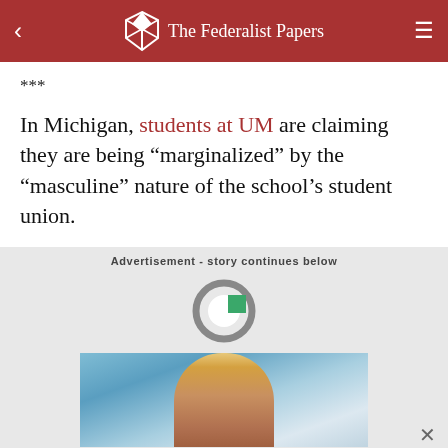The Federalist Papers
***
In Michigan, students at UM are claiming they are being “marginalized” by the “masculine” nature of the school’s student union.
Advertisement - story continues below
[Figure (logo): Circular logo with green square accent, possibly an ad network logo]
[Figure (photo): Advertisement image showing a woman with blonde hair against a blue background]
Advertisement